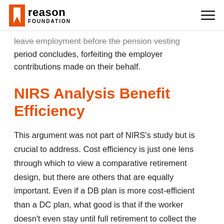Reason Foundation
leave employment before the pension vesting period concludes, forfeiting the employer contributions made on their behalf.
NIRS Analysis Benefit Efficiency
This argument was not part of NIRS’s study but is crucial to address. Cost efficiency is just one lens through which to view a comparative retirement design, but there are others that are equally important. Even if a DB plan is more cost-efficient than a DC plan, what good is that if the worker doesn’t even stay until full retirement to collect the